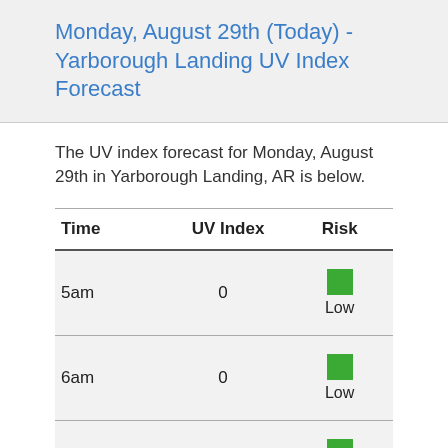Monday, August 29th (Today) - Yarborough Landing UV Index Forecast
The UV index forecast for Monday, August 29th in Yarborough Landing, AR is below.
| Time | UV Index | Risk |
| --- | --- | --- |
| 5am | 0 | Low |
| 6am | 0 | Low |
| 7am | 0 | Low |
| 8am | 0.4 | Low |